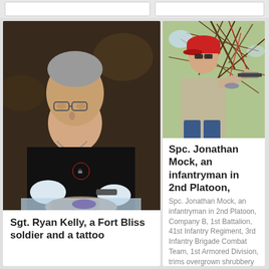[Figure (photo): Sgt. Ryan Kelly, a tattooist in a black t-shirt with skull logo, wearing glasses, applying a tattoo while wearing white gloves]
Sgt. Ryan Kelly, a Fort Bliss soldier and a tattoo
[Figure (photo): Spc. Jonathan Mock, a man in red cap and grey t-shirt trimming overgrown shrubbery outdoors]
Spc. Jonathan Mock, an infantryman in 2nd Platoon,
Spc. Jonathan Mock, an infantryman in 2nd Platoon, Company B, 1st Battalion, 41st Infantry Regiment, 3rd Infantry Brigade Combat Team, 1st Armored Division, trims overgrown shrubbery to help an 85-year-old woma... More